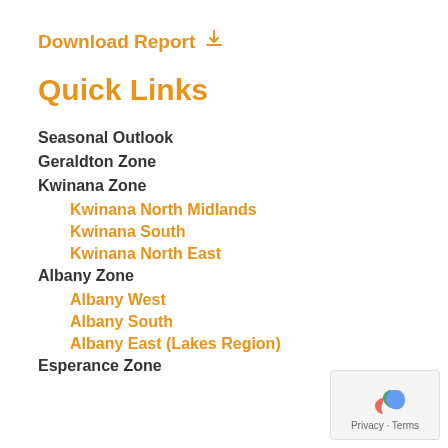Download Report ↓
Quick Links
Seasonal Outlook
Geraldton Zone
Kwinana Zone
Kwinana North Midlands
Kwinana South
Kwinana North East
Albany Zone
Albany West
Albany South
Albany East (Lakes Region)
Esperance Zone